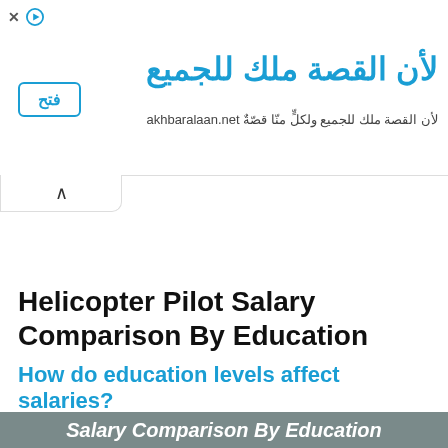[Figure (other): Arabic language advertisement banner for akhbaralaan.net with Arabic text 'لأن القصة ملك للجميع' and a blue open button 'فتح']
Helicopter Pilot Salary Comparison By Education
How do education levels affect salaries?
Displayed below is the average salary difference between different Helicopter Pilot(s) who have the same experience but different education levels.
| Salary Comparison By Education |
| --- |